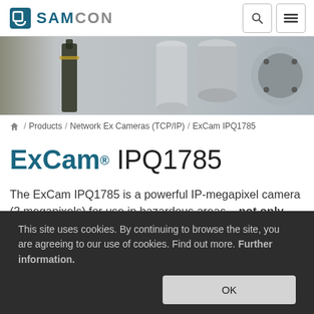SAMCON
[Figure (photo): Industrial camera equipment: stainless steel cylindrical enclosures, explosion-proof camera housings, and a wine bottle visible on the left side of the image strip.]
/ Products / Network Ex Cameras (TCP/IP) / ExCam IPQ1785
ExCam® IPQ1785
The ExCam IPQ1785 is a powerful IP-megapixel camera (2 megapixels) for use in hazardous areas – not only offering
This site uses cookies. By continuing to browse the site, you are agreeing to our use of cookies. Find out more. Further information.